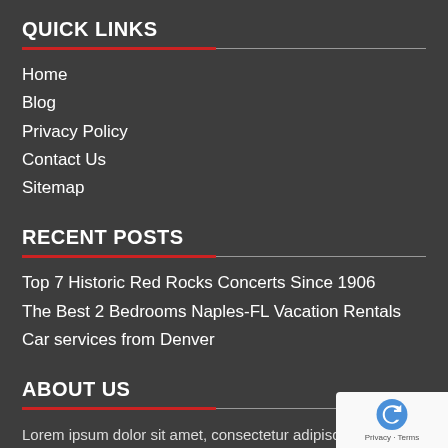QUICK LINKS
Home
Blog
Privacy Policy
Contact Us
Sitemap
RECENT POSTS
Top 7 Historic Red Rocks Concerts Since 1906
The Best 2 Bedrooms Naples-FL Vacation Rentals
Car services from Denver
ABOUT US
Lorem ipsum dolor sit amet, consectetur adipiscing elit. Mauris rhoncus dolor id arcu tincidunt ultricies. In vitae odio imperdiet dapibus. Mauris vehicula libero mauris, quis